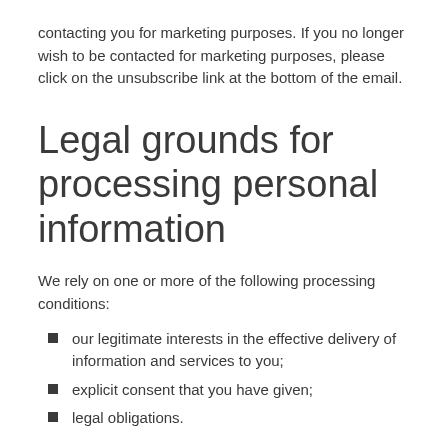contacting you for marketing purposes. If you no longer wish to be contacted for marketing purposes, please click on the unsubscribe link at the bottom of the email.
Legal grounds for processing personal information
We rely on one or more of the following processing conditions:
our legitimate interests in the effective delivery of information and services to you;
explicit consent that you have given;
legal obligations.